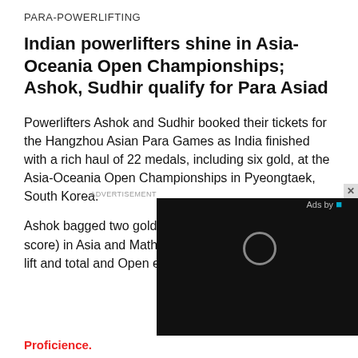PARA-POWERLIFTING
Indian powerlifters shine in Asia-Oceania Open Championships; Ashok, Sudhir qualify for Para Asiad
Powerlifters Ashok and Sudhir booked their tickets for the Hangzhou Asian Para Games as India finished with a rich haul of 22 medals, including six gold, at the Asia-Oceania Open Championships in Pyeongtaek, South Korea.
Ashok bagged two gold in men's up to 65kg (total score) in Asia and Mathew took four yellow in 59kg (best lift and total and Open events.
Proficience.